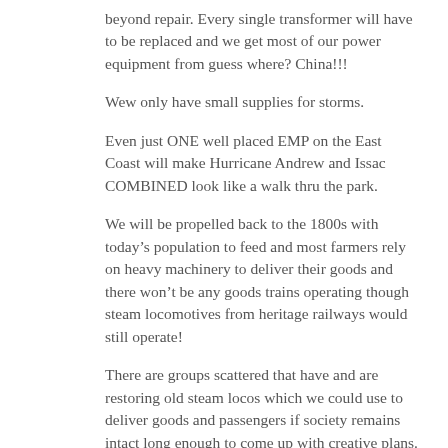beyond repair. Every single transformer will have to be replaced and we get most of our power equipment from guess where? China!!!
Wew only have small supplies for storms.
Even just ONE well placed EMP on the East Coast will make Hurricane Andrew and Issac COMBINED look like a walk thru the park.
We will be propelled back to the 1800s with today’s population to feed and most farmers rely on heavy machinery to deliver their goods and there won’t be any goods trains operating though steam locomotives from heritage railways would still operate!
There are groups scattered that have and are restoring old steam locos which we could use to deliver goods and passengers if society remains intact long enough to come up with creative plans.